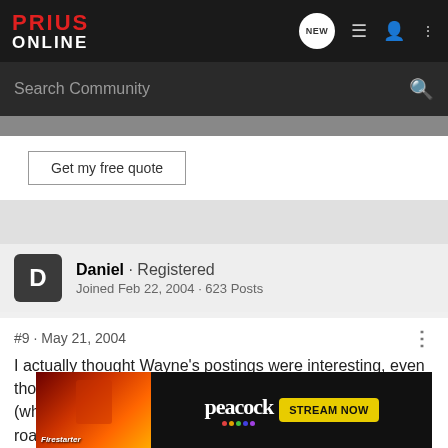Prius Online
Search Community
Get my free quote
Daniel · Registered
Joined Feb 22, 2004 · 623 Posts
#9 · May 21, 2004
I actually thought Wayne's postings were interesting, even though I disagreed with his conclusions about the Prius (which I think is the greatest and the coolest car on the road.) I was sorry he got kicked off. I gather that was for something in a thread I
[Figure (screenshot): Peacock streaming advertisement overlay with Firestarter movie promotional image on left and Peacock logo with STREAM NOW button on right]